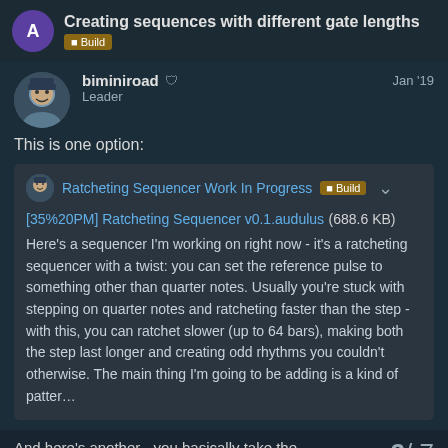Creating sequences with different gate lengths | Build
biminiroad | Leader | Jan '19
This is one option:
Ratcheting Sequencer Work In Progress | Build
[35%20PM] Ratcheting Sequencer v0.1.audulus (688.6 KB)
Here's a sequencer I'm working on right now - it's a ratcheting sequencer with a twist: you can set the reference pulse to something other than quarter notes. Usually you're stuck with stepping on quarter notes and ratcheting faster than the step - with this, you can ratchet slower (up to 64 bars), making both the step last longer and creating odd rhythms you couldn't otherwise. The main thing I'm going to be adding is a kind of patter…
And here's another - you basically take the
2 / 7